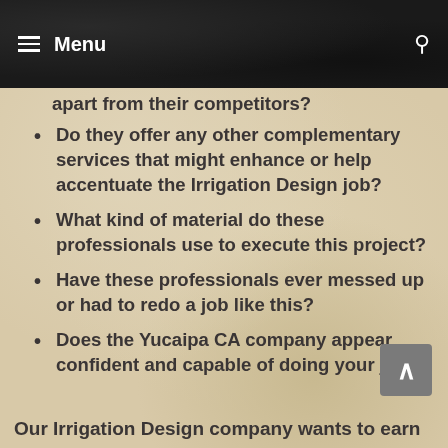Menu
different with their services to set them apart from their competitors?
Do they offer any other complementary services that might enhance or help accentuate the Irrigation Design job?
What kind of material do these professionals use to execute this project?
Have these professionals ever messed up or had to redo a job like this?
Does the Yucaipa CA company appear confident and capable of doing your job?
Our Irrigation Design company wants to earn